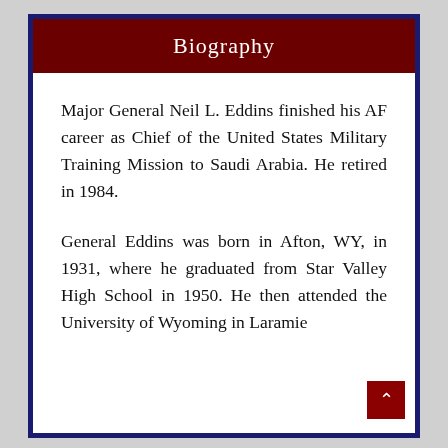Biography
Major General Neil L. Eddins finished his AF career as Chief of the United States Military Training Mission to Saudi Arabia. He retired in 1984.
General Eddins was born in Afton, WY, in 1931, where he graduated from Star Valley High School in 1950. He then attended the University of Wyoming in Laramie